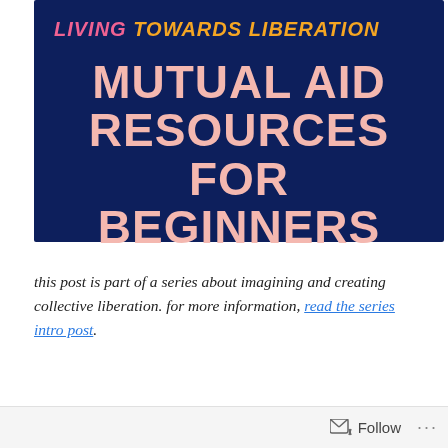[Figure (illustration): Dark navy blue banner image with text 'LIVING TOWARDS LIBERATION' in colorful italic letters at top, followed by large pink/salmon bold text reading 'MUTUAL AID RESOURCES FOR BEGINNERS']
this post is part of a series about imagining and creating collective liberation. for more information, read the series intro post.
Follow ...